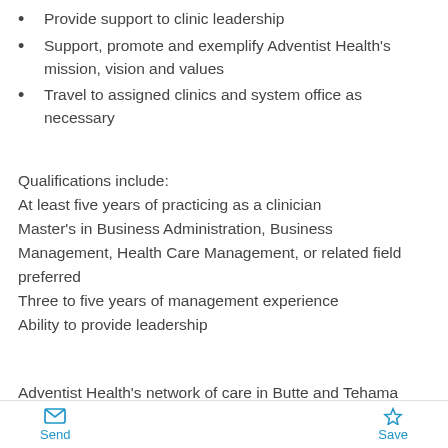Provide support to clinic leadership
Support, promote and exemplify Adventist Health's mission, vision and values
Travel to assigned clinics and system office as necessary
Qualifications include:
At least five years of practicing as a clinician
Master's in Business Administration, Business Management, Health Care Management, or related field preferred
Three to five years of management experience
Ability to provide leadership
Adventist Health's network of care in Butte and Tehama counties are an integral part of the Adventist Health
Send   Save